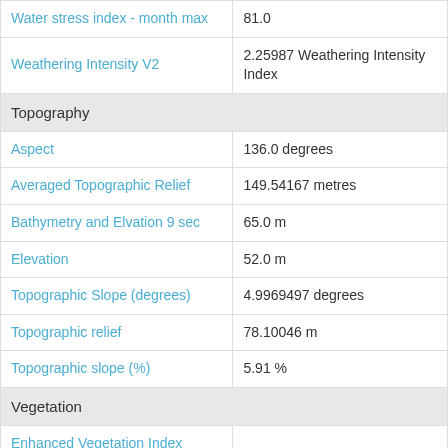| Property | Value |
| --- | --- |
| Water stress index - month max | 81.0 |
| Weathering Intensity V2 | 2.25987 Weathering Intensity Index |
| Topography |  |
| Aspect | 136.0 degrees |
| Averaged Topographic Relief | 149.54167 metres |
| Bathymetry and Elvation 9 sec | 65.0 m |
| Elevation | 52.0 m |
| Topographic Slope (degrees) | 4.9969497 degrees |
| Topographic relief | 78.10046 m |
| Topographic slope (%) | 5.91 % |
| Vegetation |  |
| Enhanced Vegetation Index (2012-03-05) | 0.4382 EVI |
| Fraction of Photosynthetically Active Radiation (fPAR) | 89.0 % |